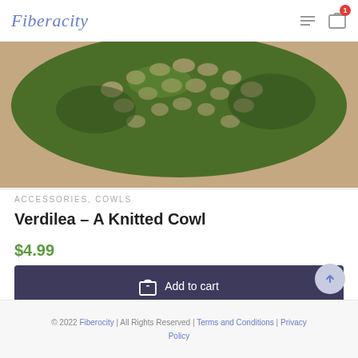Fiberocity
[Figure (photo): Close-up photo of a green knitted cowl/infinity scarf with an open lace knit pattern, shown against a pink/mauve background. The cowl shows a diagonal lace pattern in various shades of green.]
ACCESSORIES, COWLS
Verdilea – A Knitted Cowl
$4.99
Add to cart
© 2022 Fiberocity | All Rights Reserved | Terms and Conditions | Privacy Policy